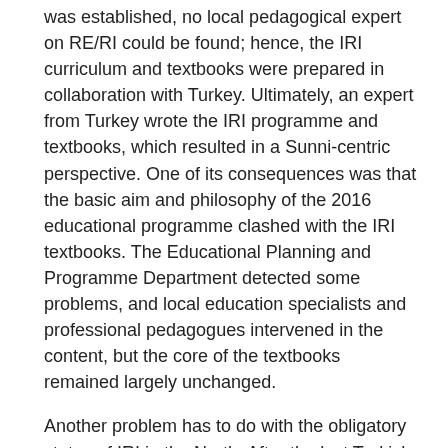was established, no local pedagogical expert on RE/RI could be found; hence, the IRI curriculum and textbooks were prepared in collaboration with Turkey. Ultimately, an expert from Turkey wrote the IRI programme and textbooks, which resulted in a Sunni-centric perspective. One of its consequences was that the basic aim and philosophy of the 2016 educational programme clashed with the IRI textbooks. The Educational Planning and Programme Department detected some problems, and local education specialists and professional pedagogues intervened in the content, but the core of the textbooks remained largely unchanged.
Another problem has to do with the obligatory status of IRI in the North. After the last Turkish Cypriot parliamentary elections in January 2018, the four-party coalition government - consisting of the Republican
Turkish Party (CTP), People's Party (HP), Communal